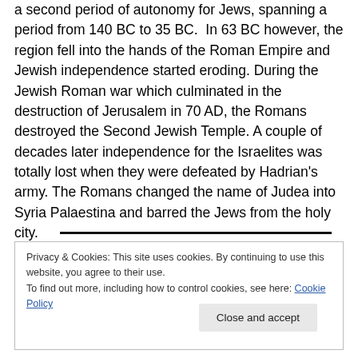a second period of autonomy for Jews, spanning a period from 140 BC to 35 BC.  In 63 BC however, the region fell into the hands of the Roman Empire and Jewish independence started eroding. During the Jewish Roman war which culminated in the destruction of Jerusalem in 70 AD, the Romans destroyed the Second Jewish Temple. A couple of decades later independence for the Israelites was totally lost when they were defeated by Hadrian's army. The Romans changed the name of Judea into Syria Palaestina and barred the Jews from the holy city.
Privacy & Cookies: This site uses cookies. By continuing to use this website, you agree to their use.
To find out more, including how to control cookies, see here: Cookie Policy